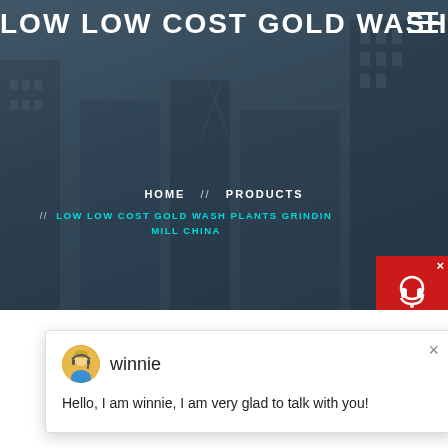LOW LOW COST GOLD WASH PLA
HOME // PRODUCTS // LOW LOW COST GOLD WASH PLANTS GRINDING MILL CHINA
[Figure (screenshot): Chat popup with avatar of winnie (customer support agent) and message: Hello, I am winnie, I am very glad to talk with you!]
Hello, I am winnie, I am very glad to talk with you!
[Figure (photo): Industrial machinery / gold wash plant equipment in a factory setting, showing large metal frames and processing equipment]